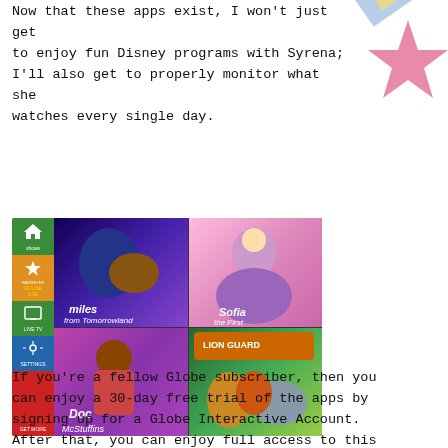Now that these apps exist, I won't just get to enjoy fun Disney programs with Syrena; I'll also get to properly monitor what she watches every single day.
[Figure (screenshot): Screenshot of Disney Junior app showing a sidebar menu with icons (home, favorites, live TV, settings, get more) and a 2x2 grid of show thumbnails: Mickey Mouse Clubhouse (top-left), Miles from Tomorrowland (top-center), Sofia the First (top-right), and bottom row showing Doc McStuffins and The Lion Guard.]
If you're a fellow Globe subscriber, then you can enjoy a 30-day free trial of the apps by signing up for a Globe Interactive Account. After that, you can enjoy full access to this premium content through the Disney129 or